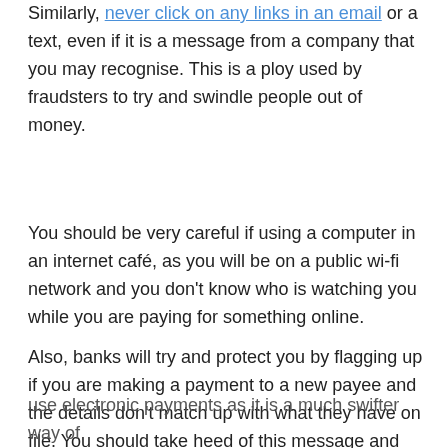Similarly, never click on any links in an email or a text, even if it is a message from a company that you may recognise. This is a ploy used by fraudsters to try and swindle people out of money.
You should be very careful if using a computer in an internet café, as you will be on a public wi-fi network and you don't know who is watching you while you are paying for something online.
Also, banks will try and protect you by flagging up if you are making a payment to a new payee and the details don't match up with what they have on file. You should take heed of this message and don't proceed if you're not sure as this
use electronic payments as it is a much swifter way of